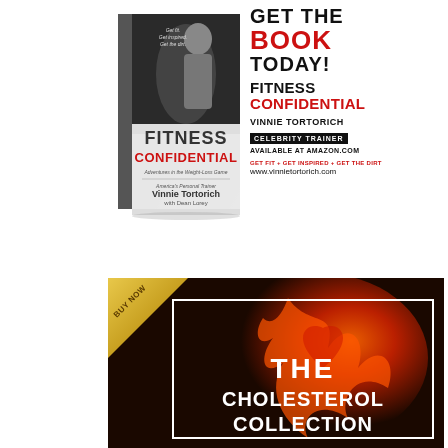[Figure (illustration): Book advertisement showing the cover of 'Fitness Confidential' by Vinnie Tortorich with a muscular man on cover, alongside text: GET THE BOOK TODAY! FITNESS CONFIDENTIAL, VINNIE TORTORICH CELEBRITY TRAINER, AVAILABLE AT AMAZON.COM, GET FIT + GET INSPIRED + GET THE DIRT, www.vinnietortorich.com]
[Figure (illustration): Book advertisement for 'The Cholesterol Collection' with dark background, orange/red flame heart image, gold 'BUY NOW' diagonal badge, white border box, and large white text reading THE CHOLESTEROL COLLECTION]